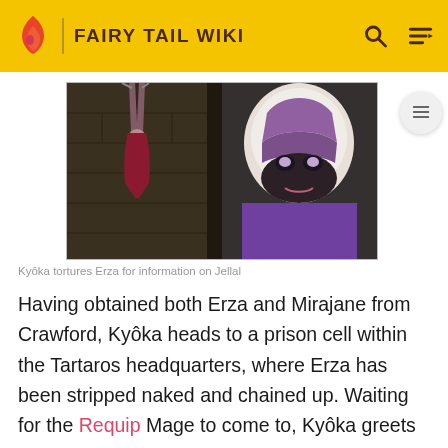FAIRY TAIL WIKI
[Figure (screenshot): Anime screenshot showing Kyôka towering over a chained Erza Scarlet in a dark dungeon setting, Kyôka wearing a masked helmet.]
Kyôka tortures Erza for information on Jellal
Having obtained both Erza and Mirajane from Crawford, Kyôka heads to a prison cell within the Tartaros headquarters, where Erza has been stripped naked and chained up. Waiting for the Requip Mage to come to, Kyôka greets her and welcomes her to their hideout, explaining to the surprised woman how the Chairman betrayed and captured her. When Erza inquires as to where Mirajane is, Kyôka informs her that she has taken